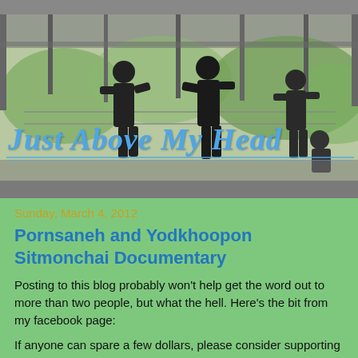[Figure (photo): Blog header image showing a stylized/illustrated boxing or Muay Thai training scene with silhouettes of fighters in a ring under a covered outdoor structure with trees visible in background. The image has a graphic art/posterization effect with greens, grays and darks.]
Just Above My Head
Sunday, March 4, 2012
Pornsaneh and Yodkhoopon Sitmonchai Documentary
Posting to this blog probably won't help get the word out to more than two people, but what the hell. Here's the bit from my facebook page:
If anyone can spare a few dollars, please consider supporting this. While